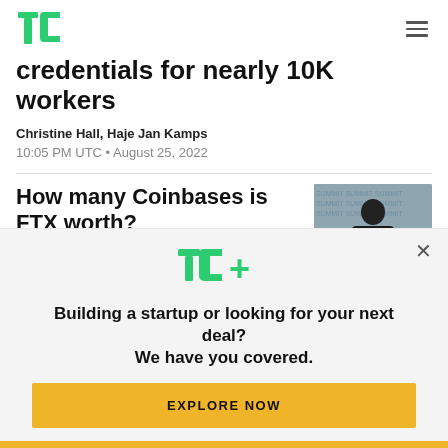TechCrunch
credentials for nearly 10K workers
Christine Hall, Haje Jan Kamps
10:05 PM UTC • August 25, 2022
How many Coinbases is FTX worth?
Lucas Matney, Anita Ramaswamy, Jacquelyn
[Figure (photo): Person seated on stage at a conference]
Building a startup or looking for your next deal? We have you covered.
EXPLORE NOW